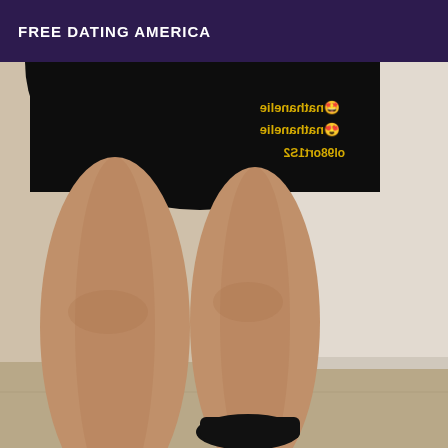FREE DATING AMERICA
[Figure (photo): Photo of a person from behind showing legs in a short black skirt with mirrored/reflected Instagram handle text overlay, standing in an interior space with white walls and tiled floor, wearing black shoes.]